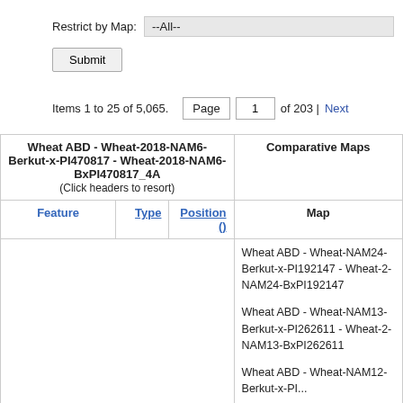Restrict by Map: --All--
Submit
Items 1 to 25 of 5,065.  Page  1  of 203 | Next
| Wheat ABD - Wheat-2018-NAM6-Berkut-x-PI470817 - Wheat-2018-NAM6-BxPI470817_4A (Click headers to resort) | Comparative Maps |
| --- | --- |
| Feature  Type  Position () | Map |
|  | Wheat ABD - Wheat-NAM24-Berkut-x-PI192147 - Wheat-2-NAM24-BxPI192147 |
|  | Wheat ABD - Wheat-NAM13-Berkut-x-PI262611 - Wheat-2-NAM13-BxPI262611 |
|  | Wheat ABD - Wheat-NAM12-Berkut-x-PI... |